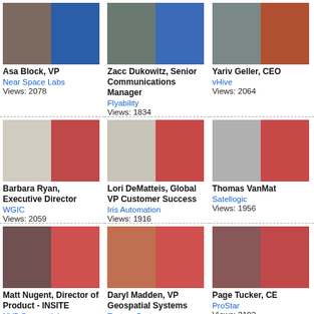[Figure (photo): Video thumbnail of Asa Block and host]
Asa Block, VP
Near Space Labs
Views: 2078
[Figure (photo): Video thumbnail of Zacc Dukowitz and host]
Zacc Dukowitz, Senior Communications Manager
Flyability
Views: 1834
[Figure (photo): Video thumbnail of Yariv Geller and host]
Yariv Geller, CEO
vHive
Views: 2064
[Figure (photo): Video thumbnail of Barbara Ryan and host]
Barbara Ryan, Executive Director
WGIC
Views: 2059
[Figure (photo): Video thumbnail of Lori DeMatteis and host]
Lori DeMatteis, Global VP Customer Success
Iris Automation
Views: 1916
[Figure (photo): Video thumbnail of Thomas VanMat and host]
Thomas VanMat...
Satellogic
Views: 1956
[Figure (photo): Video thumbnail of Matt Nugent and host]
Matt Nugent, Director of Product - INSITE
NV5 Geospatial
Views: 2123
[Figure (photo): Video thumbnail of Daryl Madden and host]
Daryl Madden, VP Geospatial Systems
Textron Systems
Views: 2522
[Figure (photo): Video thumbnail of Page Tucker and host]
Page Tucker, CE...
ProStar
Views: 2192
[Figure (photo): Video thumbnail row 4 col 1]
[Figure (photo): Video thumbnail row 4 col 2]
[Figure (photo): Video thumbnail row 4 col 3]